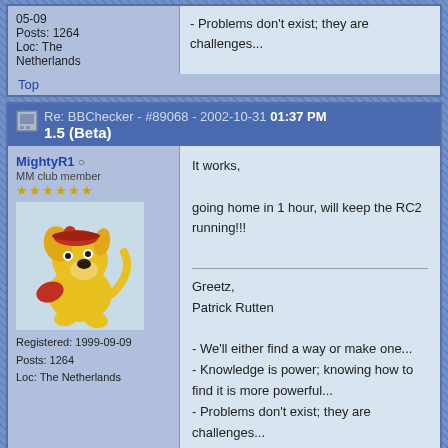Partial top post: 05-09, Posts: 1264, Loc: The Netherlands. Message: - Problems don't exist; they are challenges...
Top
Re: BBChecker - #89068 - 2002-10-31 01:37 PM 1.5 (Beta)
MightyR1 (offline) MM club member ***** Registered: 1999-09-09 Posts: 1264 Loc: The Netherlands
It works,

going home in 1 hour, will keep the RC2 running!!!

Greetz,
Patrick Rutten

- We'll either find a way or make one...
- Knowledge is power; knowing how to find it is more powerful...
- Problems don't exist; they are challenges...
Top
Re: BBChecker - #89069 - 2002-10-31 01:43 PM 1.5 (Beta)